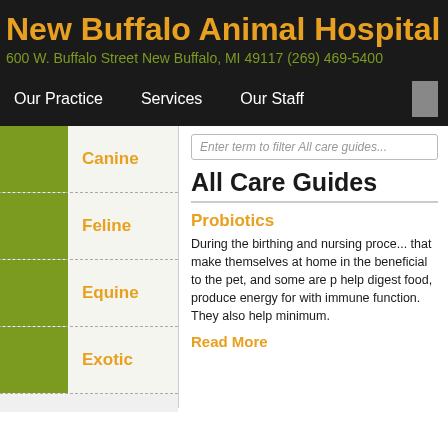New Buffalo Animal Hospital
600 W. Buffalo Street New Buffalo, MI 49117 (269) 469-5400
Our Practice | Services | Our Staff
Canine
Feline
Equine
Exotic
Enter term to filter All care guides...
All Care Guides
Probiotics
During the birthing and nursing process, that make themselves at home in the beneficial to the pet, and some are p help digest food, produce energy for with immune function. They also help minimum.
Read More